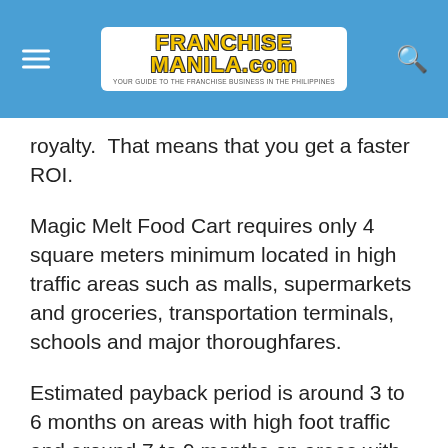FranchiseManila.com
royalty.  That means that you get a faster ROI.
Magic Melt Food Cart requires only 4 square meters minimum located in high traffic areas such as malls, supermarkets and groceries, transportation terminals, schools and major thoroughfares.
Estimated payback period is around 3 to 6 months on areas with high foot traffic and around 7 to 9 months on areas with normal foot traffic.
Contact Details